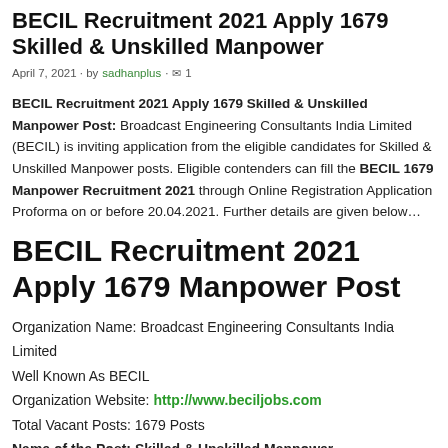BECIL Recruitment 2021 Apply 1679 Skilled & Unskilled Manpower
April 7, 2021 · by sadhanplus · 1
BECIL Recruitment 2021 Apply 1679 Skilled & Unskilled Manpower Post: Broadcast Engineering Consultants India Limited (BECIL) is inviting application from the eligible candidates for Skilled & Unskilled Manpower posts. Eligible contenders can fill the BECIL 1679 Manpower Recruitment 2021 through Online Registration Application Proforma on or before 20.04.2021. Further details are given below…
BECIL Recruitment 2021 Apply 1679 Manpower Post
Organization Name: Broadcast Engineering Consultants India Limited
Well Known As BECIL
Organization Website: http://www.beciljobs.com
Total Vacant Posts: 1679 Posts
Name of the Post: Skilled & Unskilled Manpower